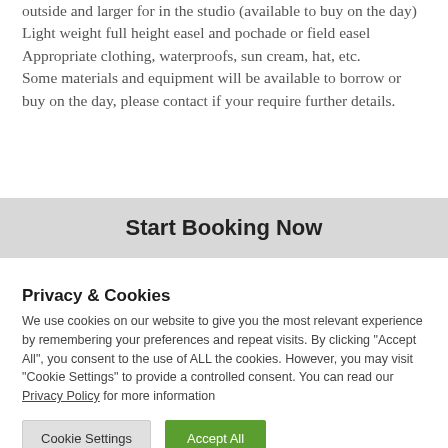outside and larger for in the studio (available to buy on the day) Light weight full height easel and pochade or field easel Appropriate clothing, waterproofs, sun cream, hat, etc. Some materials and equipment will be available to borrow or buy on the day, please contact if your require further details.
Start Booking Now
Privacy & Cookies
We use cookies on our website to give you the most relevant experience by remembering your preferences and repeat visits. By clicking "Accept All", you consent to the use of ALL the cookies. However, you may visit "Cookie Settings" to provide a controlled consent. You can read our Privacy Policy for more information
Cookie Settings
Accept All